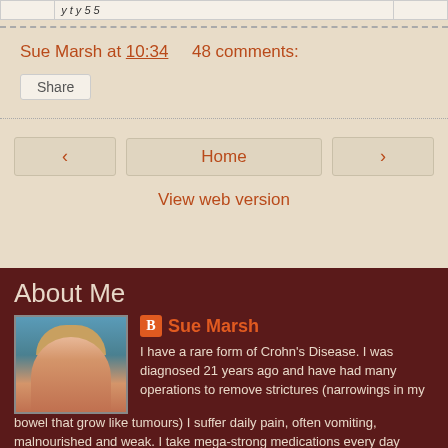|  | y t y 5 5 |  |
Sue Marsh at 10:34    48 comments:
Share
‹    Home    ›
View web version
About Me
[Figure (photo): Profile photo of Sue Marsh]
Sue Marsh
I have a rare form of Crohn's Disease. I was diagnosed 21 years ago and have had many operations to remove strictures (narrowings in my bowel that grow like tumours) I suffer daily pain, often vomiting, malnourished and weak. I take mega-strong medications every day including chemo-style immuno-suppressants, opiates and anti-sickness injections. Sometimes I am fed into my central vein by tube, other times I can enjoy a nice meal out. I have children that I often can't look after and a husband who often looks after me. Our